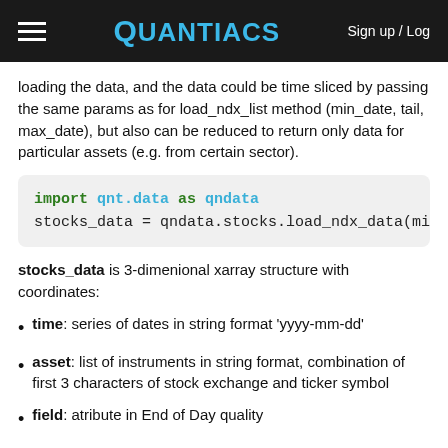Quantiacs | Sign up / Log
loading the data, and the data could be time sliced by passing the same params as for load_ndx_list method (min_date, tail, max_date), but also can be reduced to return only data for particular assets (e.g. from certain sector).
[Figure (screenshot): Code block showing: import qnt.data as qndata
stocks_data = qndata.stocks.load_ndx_data(min_d...]
stocks_data is 3-dimenional xarray structure with coordinates:
time: series of dates in string format 'yyyy-mm-dd'
asset: list of instruments in string format, combination of first 3 characters of stock exchange and ticker symbol
field: atribute in End of Day quality